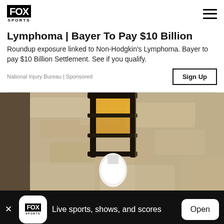FOX SPORTS
Lymphoma | Bayer To Pay $10 Billion
Roundup exposure linked to Non-Hodgkin's Lymphoma. Bayer to pay $10 Billion Settlement. See if you qualify.
National Injury Bureau | Sponsored
[Figure (photo): Close-up of a black metal lantern light fixture mounted on a textured stone or stucco wall, with a glowing white bulb visible at the bottom.]
Live sports, shows, and scores